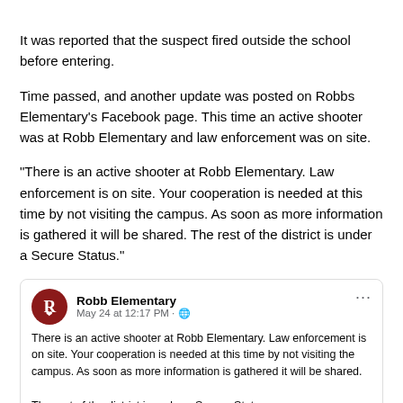It was reported that the suspect fired outside the school before entering.
Time passed, and another update was posted on Robbs Elementary's Facebook page. This time an active shooter was at Robb Elementary and law enforcement was on site.
“There is an active shooter at Robb Elementary. Law enforcement is on site. Your cooperation is needed at this time by not visiting the campus. As soon as more information is gathered it will be shared. The rest of the district is under a Secure Status.”
[Figure (screenshot): Facebook post from Robb Elementary, posted May 24 at 12:17 PM. Text reads: There is an active shooter at Robb Elementary. Law enforcement is on site. Your cooperation is needed at this time by not visiting the campus. As soon as more information is gathered it will be shared. The rest of the district is under a Secure Status. Reactions: 376 (including emoji reactions). 101 Comments, 443 Shares. Action buttons: Like, Share.]